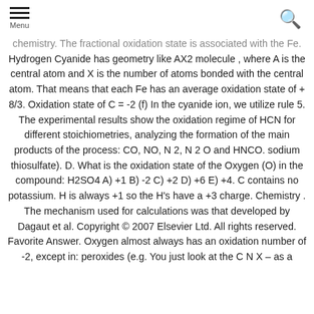Menu [search icon]
chemistry. The fractional oxidation state is associated with the Fe. Hydrogen Cyanide has geometry like AX2 molecule , where A is the central atom and X is the number of atoms bonded with the central atom. That means that each Fe has an average oxidation state of + 8/3. Oxidation state of C = -2 (f) In the cyanide ion, we utilize rule 5. The experimental results show the oxidation regime of HCN for different stoichiometries, analyzing the formation of the main products of the process: CO, NO, N 2, N 2 O and HNCO. sodium thiosulfate). D. What is the oxidation state of the Oxygen (O) in the compound: H2SO4 A) +1 B) -2 C) +2 D) +6 E) +4. C contains no potassium. H is always +1 so the H's have a +3 charge. Chemistry . The mechanism used for calculations was that developed by Dagaut et al. Copyright © 2007 Elsevier Ltd. All rights reserved. Favorite Answer. Oxygen almost always has an oxidation number of -2, except in: peroxides (e.g. You just look at the C N X – as a